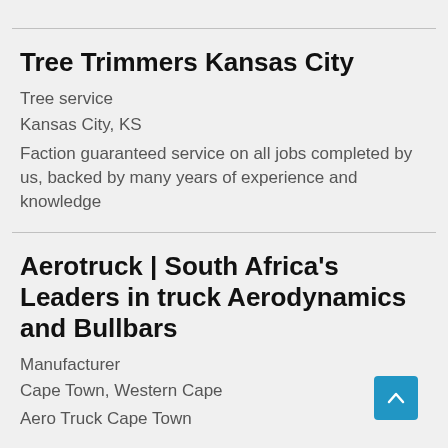Tree Trimmers Kansas City
Tree service
Kansas City, KS
Faction guaranteed service on all jobs completed by us, backed by many years of experience and knowledge
Aerotruck | South Africa's Leaders in truck Aerodynamics and Bullbars
Manufacturer
Cape Town, Western Cape
Aero Truck Cape Town